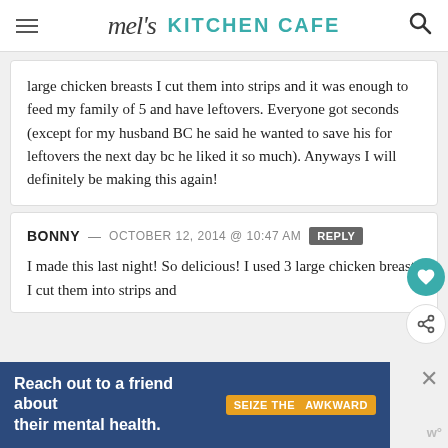mel's KITCHEN CAFE
large chicken breasts I cut them into strips and it was enough to feed my family of 5 and have leftovers. Everyone got seconds (except for my husband BC he said he wanted to save his for leftovers the next day bc he liked it so much). Anyways I will definitely be making this again!
BONNY — OCTOBER 12, 2014 @ 10:47 AM REPLY
I made this last night! So delicious! I used 3 large chicken breasts I cut them into strips and
Reach out to a friend about their mental health. SEIZE THE AWKWARD